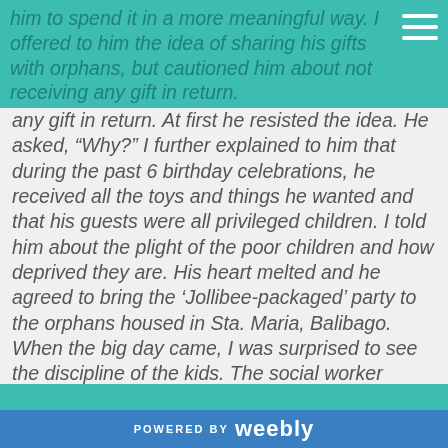him to spend it in a more meaningful way. I offered to him the idea of sharing his gifts with orphans, but cautioned him about not receiving any gift in return.
any gift in return.  At first he resisted the idea.  He asked, “Why?”  I further explained to him that during the past 6 birthday celebrations, he received all the toys and things he wanted and that his guests were all privileged children.  I told him about the plight of the poor children and how deprived they are.  His heart melted and he agreed to bring the ‘Jollibee-packaged’ party to the orphans housed in Sta. Maria, Balibago.  When the big day came, I was surprised to see the discipline of the kids.  The social worker taking care of them prepared the kids.  They were so well behaved and were very much delighted to see a mascot, watch a Muppet show and to share the food with Joseph.  At the end of the party, the kids presented
POWERED BY weebly